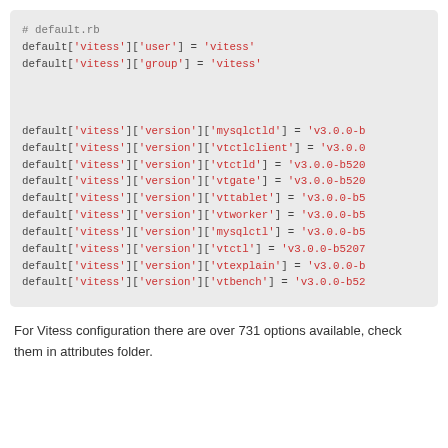[Figure (screenshot): Code block showing Ruby default.rb configuration with vitess user/group settings and version assignments for multiple vitess components (mysqlctld, vtctlclient, vtctld, vtgate, vttablet, vtworker, mysqlctl, vtctl, vtexplain, vtbench) all set to v3.0.0-b520x series]
For Vitess configuration there are over 731 options available, check them in attributes folder.